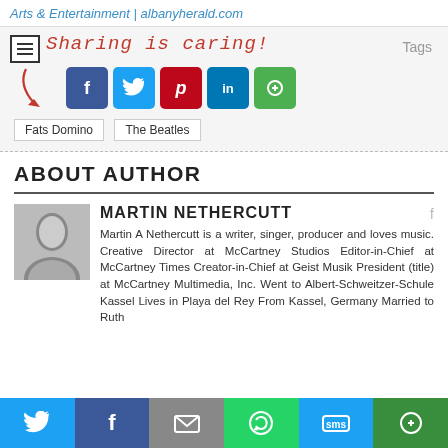Arts & Entertainment | albanyherald.com
[Figure (screenshot): Sharing section with menu button, 'Sharing is caring!' handwritten text, Tags label, social share icons (Facebook, Twitter, Pinterest, LinkedIn, More), and tag buttons for Fats Domino and The Beatles]
ABOUT AUTHOR
MARTIN NETHERCUTT
Martin A Nethercutt is a writer, singer, producer and loves music. Creative Director at McCartney Studios Editor-in-Chief at McCartney Times Creator-in-Chief at Geist Musik President (title) at McCartney Multimedia, Inc. Went to Albert-Schweitzer-Schule Kassel Lives in Playa del Rey From Kassel, Germany Married to Ruth
[Figure (screenshot): Bottom share bar with Twitter, Facebook, Email, WhatsApp, SMS, and More buttons]